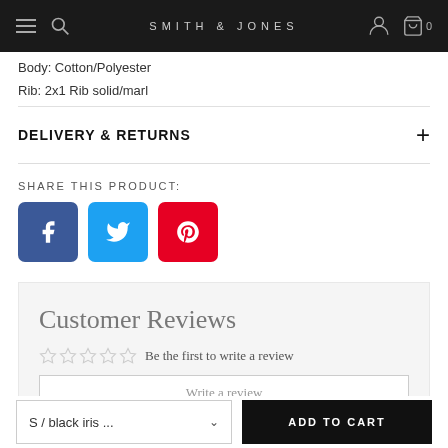SMITH & JONES
Body: Cotton/Polyester
Rib: 2x1 Rib solid/marl
DELIVERY & RETURNS
SHARE THIS PRODUCT:
[Figure (infographic): Social share buttons: Facebook (blue), Twitter (light blue), Pinterest (red)]
Customer Reviews
Be the first to write a review
Write a review
S / black iris ... ADD TO CART